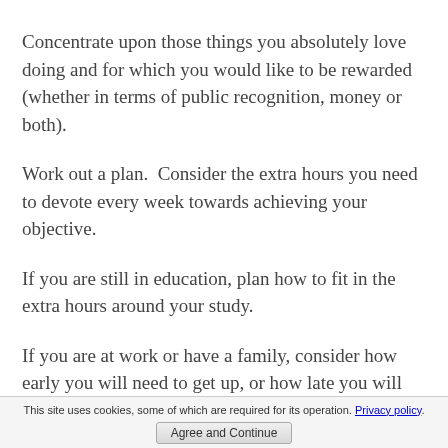Concentrate upon those things you absolutely love doing and for which you would like to be rewarded (whether in terms of public recognition, money or both).
Work out a plan.  Consider the extra hours you need to devote every week towards achieving your objective.
If you are still in education, plan how to fit in the extra hours around your study.
If you are at work or have a family, consider how early you will need to get up, or how late you will have to work.
This site uses cookies, some of which are required for its operation. Privacy policy. Agree and Continue